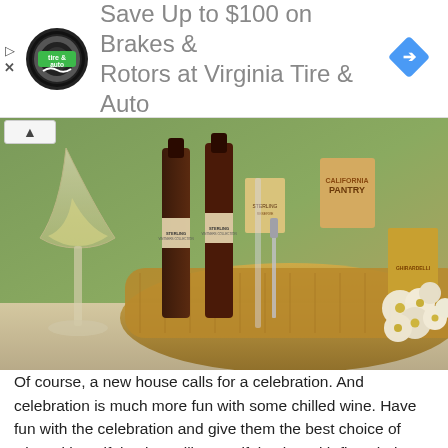[Figure (infographic): Advertisement banner for Virginia Tire & Auto showing logo on left, text 'Save Up to $100 on Brakes & Rotors at Virginia Tire & Auto' in gray, and a blue diamond-shaped navigation arrow icon on the right.]
[Figure (photo): A large gold wicker gift basket filled with Sterling Vintners Collection wine bottles (red and white), Ghirardelli chocolate, crackers, and gourmet snacks. A wine glass with white wine sits to the left, and white flowers are on the right.]
Of course, a new house calls for a celebration. And celebration is much more fun with some chilled wine. Have fun with the celebration and give them the best choice of wine with a gift basket. Fill your gift basket with fine choices of wine and